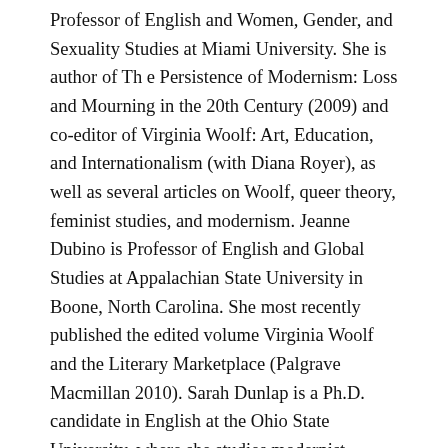Professor of English and Women, Gender, and Sexuality Studies at Miami University. She is author of The Persistence of Modernism: Loss and Mourning in the 20th Century (2009) and co-editor of Virginia Woolf: Art, Education, and Internationalism (with Diana Royer), as well as several articles on Woolf, queer theory, feminist studies, and modernism. Jeanne Dubino is Professor of English and Global Studies at Appalachian State University in Boone, North Carolina. She most recently published the edited volume Virginia Woolf and the Literary Marketplace (Palgrave Macmillan 2010). Sarah Dunlap is a Ph.D. candidate in English at the Ohio State University, where she studies modernist literature and ecocriticism. Her essay is derived from her dissertation research on ecological ideas in modernist fiction. J. Ashley Foster is currently a Ph.D. candidate at The Graduate Center, City University of New York, where she is writing her dissertation “Modernism’s Impossible Witness: Peace Testimony from the Modernist Wars.” Her research interests include Peace Studies, Modernism, Ethics